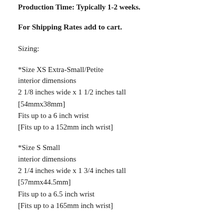Production Time: Typically 1-2 weeks.
For Shipping Rates add to cart.
Sizing:
*Size XS Extra-Small/Petite
interior dimensions
2 1/8 inches wide x 1 1/2 inches tall
[54mmx38mm]
Fits up to a 6 inch wrist
[Fits up to a 152mm inch wrist]
*Size S Small
interior dimensions
2 1/4 inches wide x 1 3/4 inches tall
[57mmx44.5mm]
Fits up to a 6.5 inch wrist
[Fits up to a 165mm inch wrist]